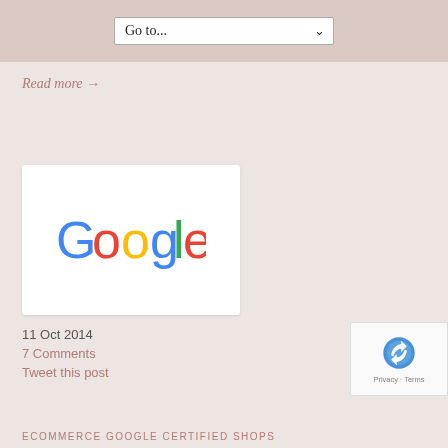Go to...
Read more →
[Figure (logo): Google logo on white card background]
11 Oct 2014
7 Comments
Tweet this post
[Figure (logo): reCAPTCHA badge with Privacy - Terms links]
ECOMMERCE GOOGLE CERTIFIED SHOPS